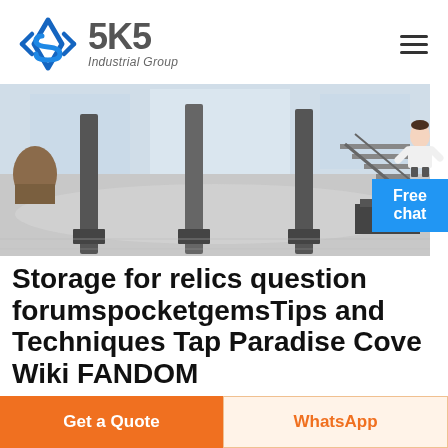[Figure (logo): SKS Industrial Group logo with blue diamond/arrow icon and gray text]
[Figure (photo): Industrial warehouse interior with polished concrete floor, metal columns, staircase, and machinery]
Storage for relics question forumspocketgemsTips and Techniques Tap Paradise Cove Wiki FANDOM
01 14 32 What s the maximum number of storage slots you can
Get a Quote
WhatsApp